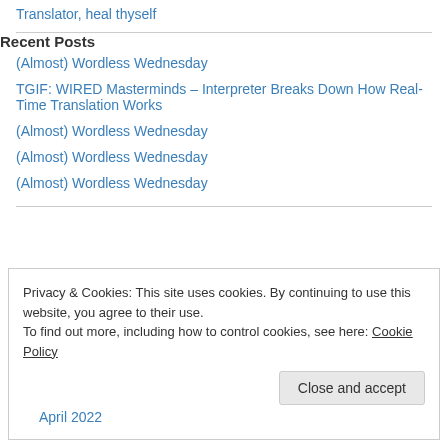Translator, heal thyself
Recent Posts
(Almost) Wordless Wednesday
TGIF: WIRED Masterminds – Interpreter Breaks Down How Real-Time Translation Works
(Almost) Wordless Wednesday
(Almost) Wordless Wednesday
(Almost) Wordless Wednesday
Privacy & Cookies: This site uses cookies. By continuing to use this website, you agree to their use. To find out more, including how to control cookies, see here: Cookie Policy
Close and accept
April 2022